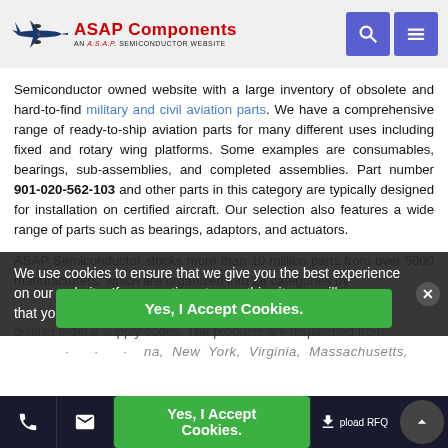[Figure (logo): ASAP Components logo with airplane silhouette and ASAP Semiconductor website tagline, plus search and menu icon buttons]
Semiconductor owned website with a large inventory of obsolete and hard-to-find military and civil aviation parts. We have a comprehensive range of ready-to-ship aviation parts for many different uses including fixed and rotary wing platforms. Some examples are consumables, bearings, sub-assemblies, and completed assemblies. Part number 901-020-562-103 and other parts in this category are typically designed for installation on certified aircraft. Our selection also features a wide range of parts such as bearings, adaptors, and actuators.
ASAP Semiconductor stocks more than 10 million parts from over 5000 manufacturers, which are organized into 26 categories by distinct federal supply codes. The products are dispatched from ...
We use cookies to ensure that we give you the best experience on our website. If you continue to use this site we will assume that you are happy with it.
Yes, I Accept Cookies.